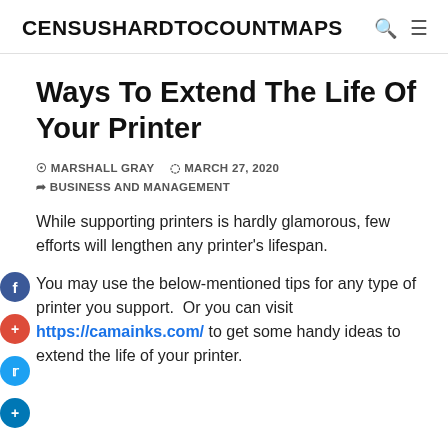CENSUSHARDTOCOUNTMAPS
Ways To Extend The Life Of Your Printer
MARSHALL GRAY   MARCH 27, 2020
BUSINESS AND MANAGEMENT
While supporting printers is hardly glamorous, few efforts will lengthen any printer's lifespan.
You may use the below-mentioned tips for any type of printer you support.  Or you can visit https://camainks.com/ to get some handy ideas to extend the life of your printer.